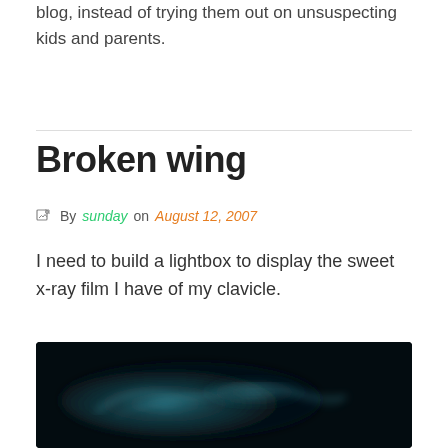blog, instead of trying them out on unsuspecting kids and parents.
Broken wing
By sunday on August 12, 2007
I need to build a lightbox to display the sweet x-ray film I have of my clavicle.
[Figure (photo): X-ray image of a clavicle shown in dark teal/blue tones against a black background]